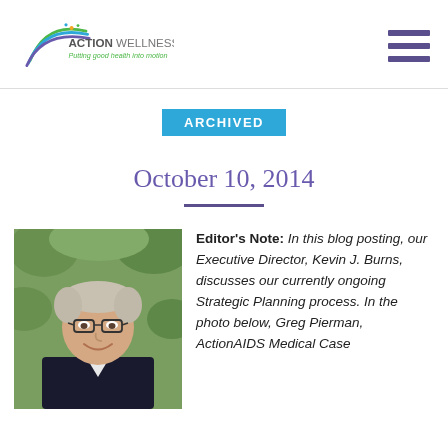ACTION WELLNESS — Putting good health into motion
ARCHIVED
October 10, 2014
[Figure (photo): Head-and-shoulders photo of a smiling middle-aged man with grey hair and glasses, wearing a dark jacket, with green foliage in the background.]
Editor's Note: In this blog posting, our Executive Director, Kevin J. Burns, discusses our currently ongoing Strategic Planning process. In the photo below, Greg Pierman, ActionAIDS Medical Case